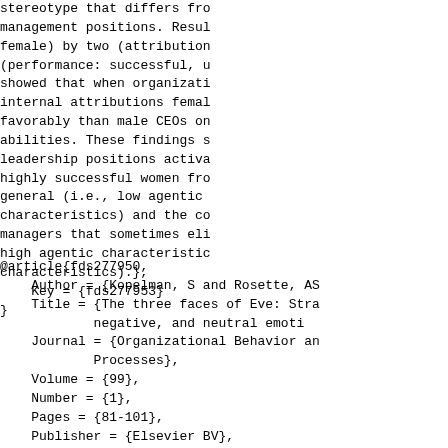stereotype that differs fro
management positions. Resul
female) by two (attribution
(performance: successful, u
showed that when organizati
internal attributions femal
favorably than male CEOs on
abilities. These findings s
leadership positions activa
highly successful women fro
general (i.e., low agentic
characteristics) and the co
managers that sometimes eli
high agentic characteristic
characteristics).},
    Key = {fds277953}
}
@article{fds277950,
    Author = {Kopelman, S and Rosette, AS
    Title = {The three faces of Eve: Stra
            negative, and neutral emoti
    Journal = {Organizational Behavior an
            Processes},
    Volume = {99},
    Number = {1},
    Pages = {81-101},
    Publisher = {Elsevier BV},
    Year = {2006},
    Month = {January},